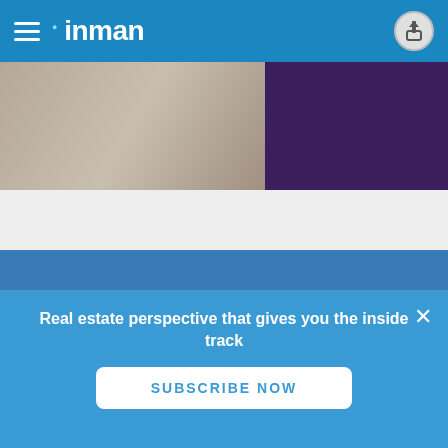inman
[Figure (photo): Partial image showing a person in checkered clothing on the left and a purple/dark background on the right]
Inman
About
Contact
Support
Advertise
Products
Select
Inman Events
Connect October
Connect New York
Inman
Real estate perspective that gives you the inside track
SUBSCRIBE NOW